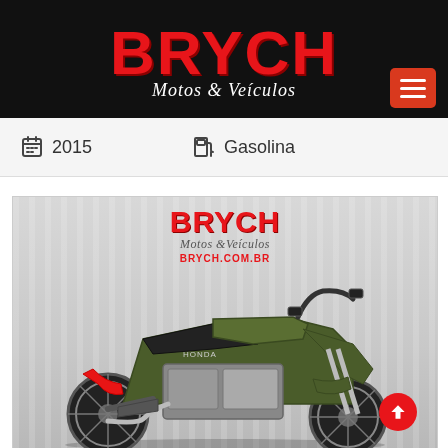[Figure (logo): BRYCH Motos & Veículos logo in red on black background header]
2015   Gasolina
[Figure (photo): Honda motorcycle (dark olive/green color, trail/adventure style) displayed in a dealership with BRYCH Motos & Veiculos branding sign in background. BRYCH.COM.BR URL shown.]